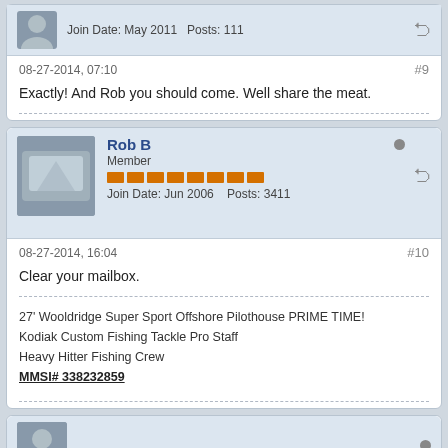Join Date: May 2011  Posts: 111
08-27-2014, 07:10  #9
Exactly! And Rob you should come. Well share the meat.
Rob B
Member
Join Date: Jun 2006  Posts: 3411
08-27-2014, 16:04  #10
Clear your mailbox.
27' Wooldridge Super Sport Offshore Pilothouse PRIME TIME!
Kodiak Custom Fishing Tackle Pro Staff
Heavy Hitter Fishing Crew
MMSI# 338232859